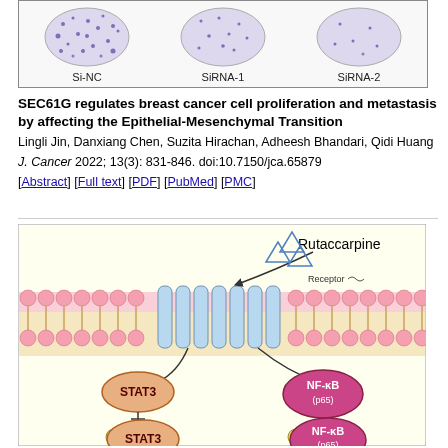[Figure (photo): Colony formation assay images showing three circular dishes labeled Si-NC, SiRNA-1, and SiRNA-2 with purple-stained colonies visible.]
SEC61G regulates breast cancer cell proliferation and metastasis by affecting the Epithelial-Mesenchymal Transition
Lingli Jin, Danxiang Chen, Suzita Hirachan, Adheesh Bhandari, Qidi Huang
J. Cancer 2022; 13(3): 831-846. doi:10.7150/jca.65879
[Abstract] [Full text] [PDF] [PubMed] [PMC]
[Figure (illustration): Scientific diagram showing Rutaccarpine binding to a receptor in the cell membrane, with signaling pathways to STAT3 and NF-kB (p65) transcription factors, and phosphorylated forms of STAT3 and NF-kB (p65) shown below.]